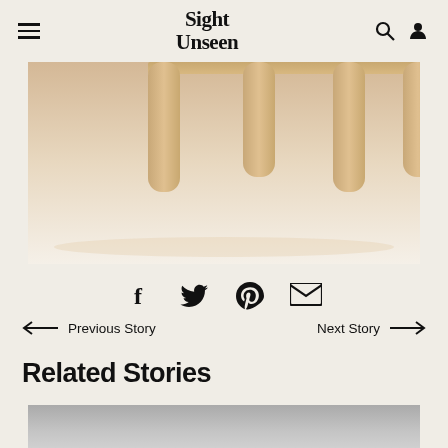Sight Unseen
[Figure (photo): Wooden table with cylindrical legs photographed from below/side angle on light background]
[Figure (infographic): Social sharing icons: Facebook, Twitter, Pinterest, Email]
← Previous Story    Next Story →
Related Stories
[Figure (photo): Partially visible image with grey gradient background at bottom of page]